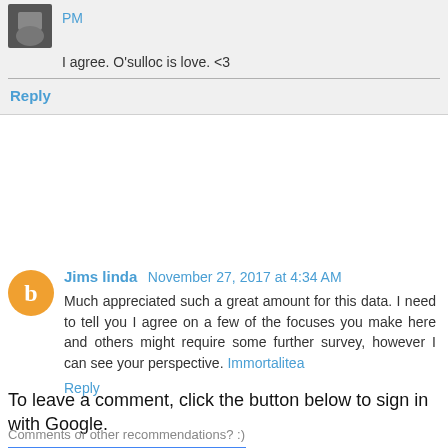PM
I agree. O'sulloc is love. <3
Reply
Jims linda November 27, 2017 at 4:34 AM
Much appreciated such a great amount for this data. I need to tell you I agree on a few of the focuses you make here and others might require some further survey, however I can see your perspective. Immortalitea
Reply
To leave a comment, click the button below to sign in with Google.
SIGN IN WITH GOOGLE
Comments or other recommendations? :)